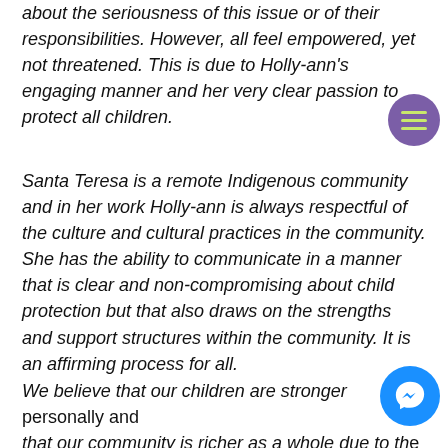about the seriousness of this issue or of their responsibilities. However, all feel empowered, yet not threatened. This is due to Holly-ann's engaging manner and her very clear passion to protect all children.
Santa Teresa is a remote Indigenous community and in her work Holly-ann is always respectful of the culture and cultural practices in the community. She has the ability to communicate in a manner that is clear and non-compromising about child protection but that also draws on the strengths and support structures within the community. It is an affirming process for all.
We believe that our children are stronger personally and that our community is richer as a whole due to the work of Holly-ann Martin from Safe4Kids. Children are the